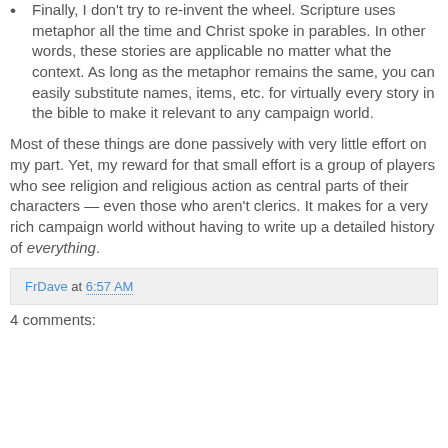Finally, I don't try to re-invent the wheel. Scripture uses metaphor all the time and Christ spoke in parables. In other words, these stories are applicable no matter what the context. As long as the metaphor remains the same, you can easily substitute names, items, etc. for virtually every story in the bible to make it relevant to any campaign world.
Most of these things are done passively with very little effort on my part. Yet, my reward for that small effort is a group of players who see religion and religious action as central parts of their characters — even those who aren't clerics. It makes for a very rich campaign world without having to write up a detailed history of everything.
FrDave at 6:57 AM
4 comments: